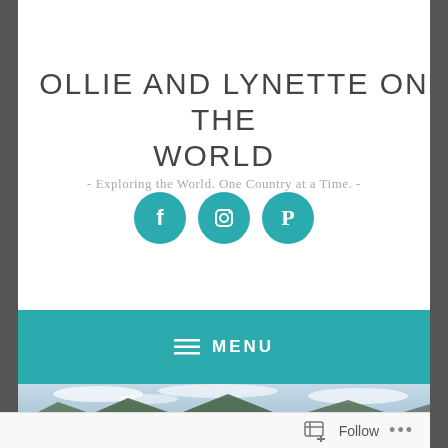OLLIE AND LYNETTE ON THE WORLD
- Exploring the World. One Country at a Time. -
[Figure (other): Three teal circular social media icon buttons: Facebook, Instagram, Pinterest]
≡ MENU
[Figure (photo): Panoramic landscape photo showing rolling hills/mountains under a cloudy sky with water visible in the foreground]
Follow ...